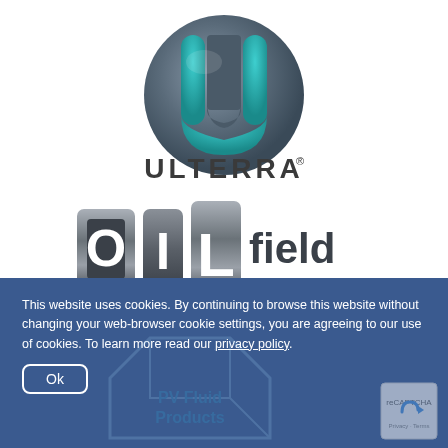[Figure (logo): Ulterra company logo: circular grey 3D sphere with teal U-shape cutout in the center, with ULTERRA text in dark grey bold capitals with registered trademark symbol below]
[Figure (logo): Oilfield Calendar logo: stylized OIL letters in metallic grey/silver blocks, followed by 'field' in dark grey and 'CALENDAR' in teal capitals below]
This website uses cookies. By continuing to browse this website without changing your web-browser cookie settings, you are agreeing to our use of cookies. To learn more read our privacy policy.
Ok